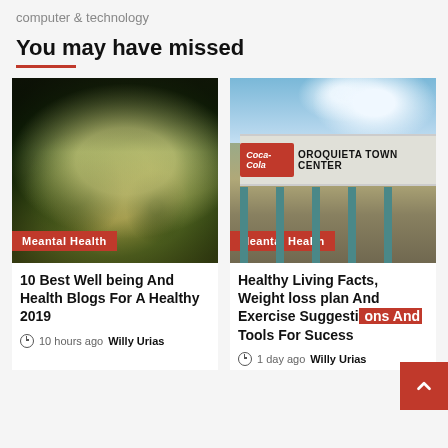computer & technology
You may have missed
[Figure (photo): Close-up photo of a variegated leaf with green and cream/yellow mottled pattern on dark background, with a red 'Meantal Health' category badge at the bottom left.]
[Figure (photo): Photo of Oroquieta Town Center building exterior with Coca-Cola sign on the facade, blue sky with clouds in background, with a red 'Meantal Health' category badge at the bottom left.]
10 Best Well being And Health Blogs For A Healthy 2019
10 hours ago  Willy Urias
Healthy Living Facts, Weight loss plan And Exercise Suggesti... Tools For Success...
1 day ago  Willy Urias